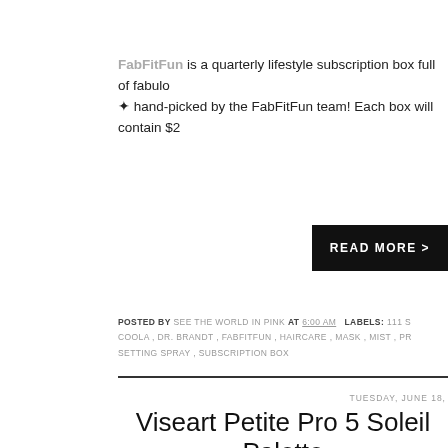FabFitFun is a quarterly lifestyle subscription box full of fabulo… hand-picked by the FabFitFun team! Each box will contain $2…
READ MORE >
POSTED BY SEE THE WORLD IN PINK AT 6:00 AM  LABELS: 111 S COOLA , DR. BRANDT , FABFITFUN , HAIRCARE , MASK , MIST , PR SETTING SPRAY , SUBSCRIPTION BOX
TUESDAY, JUNE 18,
Viseart Petite Pro 5 Soleil Palette and Revie…
What better way to embrace the beautiful warm weather we've… eyeshadow palette?!